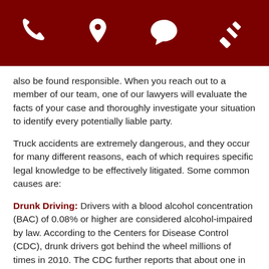[Header bar with phone, location, chat, and gavel icons]
also be found responsible. When you reach out to a member of our team, one of our lawyers will evaluate the facts of your case and thoroughly investigate your situation to identify every potentially liable party.
Truck accidents are extremely dangerous, and they occur for many different reasons, each of which requires specific legal knowledge to be effectively litigated. Some common causes are:
Drunk Driving: Drivers with a blood alcohol concentration (BAC) of 0.08% or higher are considered alcohol-impaired by law. According to the Centers for Disease Control (CDC), drunk drivers got behind the wheel millions of times in 2010. The CDC further reports that about one in three traffic deaths in the U.S. involves a drunk driver.
Mechanical Defect and Malfunction: Trucking accidents